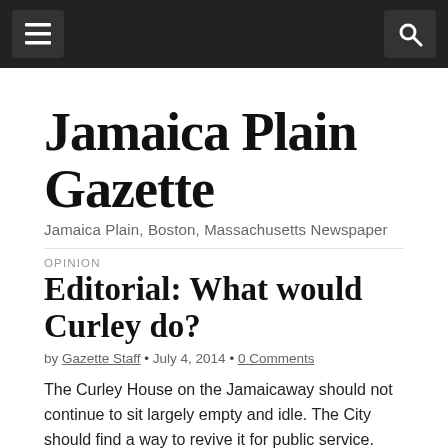[Navigation bar with menu and search buttons]
Jamaica Plain Gazette
Jamaica Plain, Boston, Massachusetts Newspaper
OPINION
Editorial: What would Curley do?
by Gazette Staff • July 4, 2014 • 0 Comments
The Curley House on the Jamaicaway should not continue to sit largely empty and idle. The City should find a way to revive it for public service.